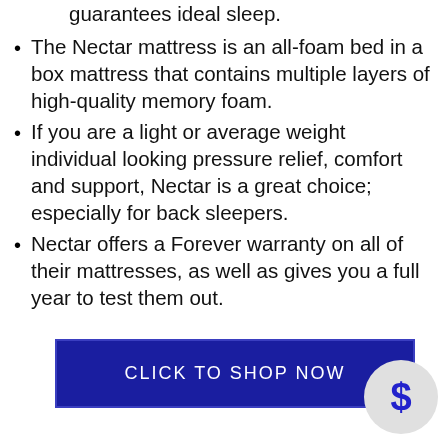guarantees ideal sleep.
The Nectar mattress is an all-foam bed in a box mattress that contains multiple layers of high-quality memory foam.
If you are a light or average weight individual looking pressure relief, comfort and support, Nectar is a great choice; especially for back sleepers.
Nectar offers a Forever warranty on all of their mattresses, as well as gives you a full year to test them out.
CLICK TO SHOP NOW